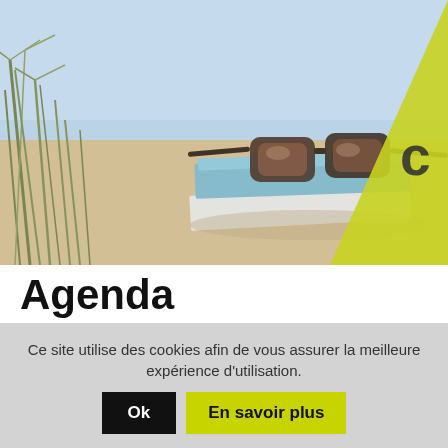[Figure (photo): Beach scene photo showing sunglasses resting on top of books in sandy dunes with tall grass, blue sky in background. A yellow-green triangular shape overlays the right side of the image.]
Agenda
[osd_social_media_sharing]
Ce site utilise des cookies afin de vous assurer la meilleure expérience d'utilisation.
Ok
En savoir plus